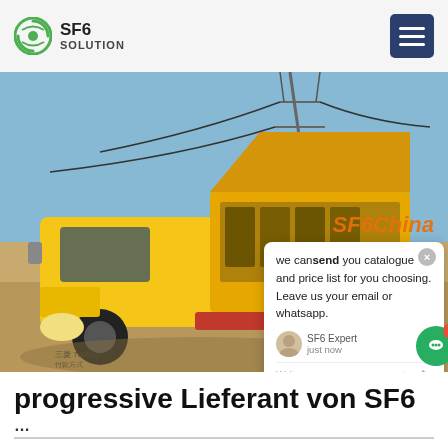SF6 SOLUTION
[Figure (photo): Yellow truck with open side panel displaying SF6 gas equipment, parked outdoors with power lines visible overhead. Chat popup overlay visible in upper right of image. 'SF6China' watermark in orange at bottom right of image.]
progressive Lieferant von SF6
...